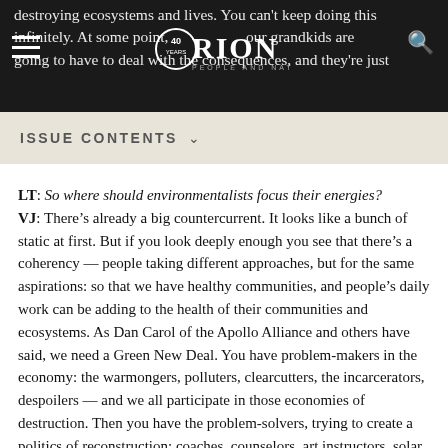destroying ecosystems and lives. You can't keep doing this infinitely. At some point, your grandkids are going to have to deal with the consequences, and they're just
ISSUE CONTENTS ∨
LT: So where should environmentalists focus their energies? VJ: There's already a big countercurrent. It looks like a bunch of static at first. But if you look deeply enough you see that there's a coherency — people taking different approaches, but for the same aspirations: so that we have healthy communities, and people's daily work can be adding to the health of their communities and ecosystems. As Dan Carol of the Apollo Alliance and others have said, we need a Green New Deal. You have problem-makers in the economy: the warmongers, polluters, clearcutters, the incarcerators, despoilers — and we all participate in those economies of destruction. Then you have the problem-solvers, trying to create a politics of reconstruction: coaches, counselors, art instructors, solar engineers, organic farmers, permaculturists. The problem-solvers get pennies from the government compared to the dollars for the problem-makers. You want to move the government from the side of the